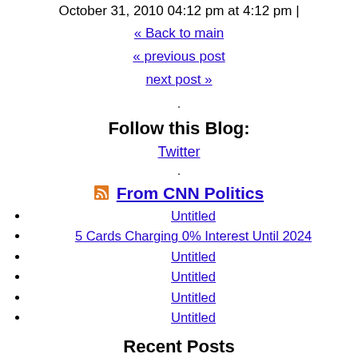October 31, 2010 04:12 pm at 4:12 pm |
« Back to main
« previous post
next post »
.
Follow this Blog:
Twitter
.
From CNN Politics
Untitled
5 Cards Charging 0% Interest Until 2024
Untitled
Untitled
Untitled
Untitled
Recent Posts
Farewell to the Ticker
GOP challenger Dan Sullivan leads Mark Begich in Alaska